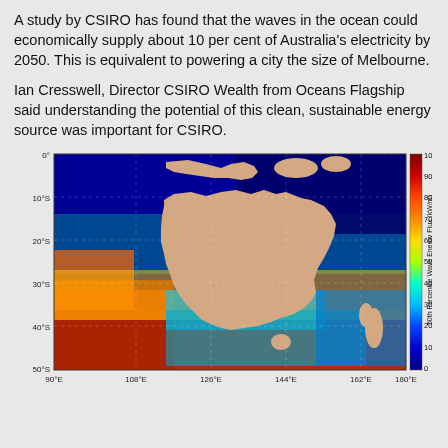A study by CSIRO has found that the waves in the ocean could economically supply about 10 per cent of Australia’s electricity by 2050. This is equivalent to powering a city the size of Melbourne.
Ian Cresswell, Director CSIRO Wealth from Oceans Flagship said understanding the potential of this clean, sustainable energy source was important for CSIRO.
[Figure (map): Color-coded map of ocean wave energy flux (50th Percentile Wave Energy Flux in kW/m) around Australia and the surrounding ocean region. Latitude ranges from 0° to 50°S, longitude from 90°E to 180°E. Colors range from dark blue (0 kW/m) in the north to red/dark red (100 kW/m) in the southern ocean, with a color bar on the right side. Australia is shown in beige/tan. High wave energy shown in the south, especially southwest. New Zealand visible at lower right.]